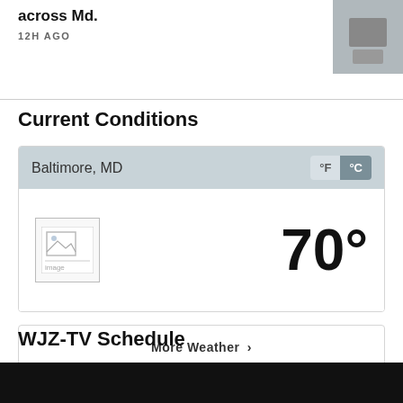across Md.
12H AGO
[Figure (photo): Thumbnail image of a bird/animal on a sandy/rocky surface]
Current Conditions
Baltimore, MD
[Figure (other): Weather condition icon (broken image placeholder)]
70°
°F
°C
More Weather ›
WJZ-TV Schedule